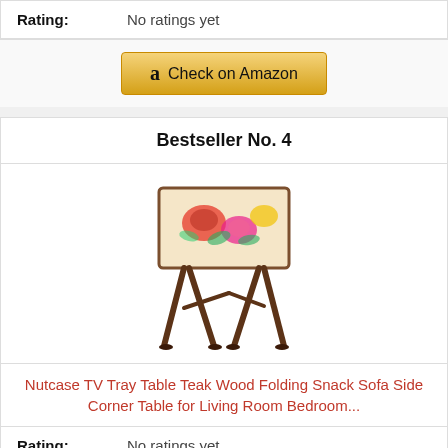Rating: No ratings yet
[Figure (other): Amazon 'Check on Amazon' button with Amazon logo]
Bestseller No. 4
[Figure (photo): Nutcase TV Tray Table - wooden folding side table with floral tray top and X-shaped legs in teak wood finish]
Nutcase TV Tray Table Teak Wood Folding Snack Sofa Side Corner Table for Living Room Bedroom...
Rating: No ratings yet